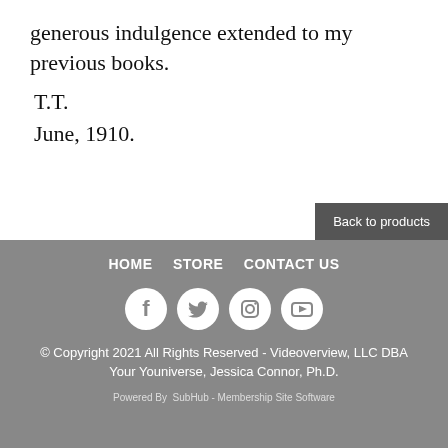generous indulgence extended to my previous books.
T.T.
June, 1910.
Back to products
HOME   STORE   CONTACT US
[Figure (illustration): Four circular social media icons: Facebook, Twitter, Instagram, YouTube]
© Copyright 2021 All Rights Reserved - Videooverview, LLC DBA Your Youniverse, Jessica Connor, Ph.D.
Powered By SubHub - Membership Site Software